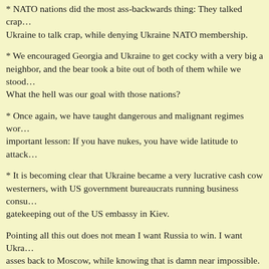* NATO nations did the most ass-backwards thing: They talked crap... Ukraine to talk crap, while denying Ukraine NATO membership.
* We encouraged Georgia and Ukraine to get cocky with a very big a neighbor, and the bear took a bite out of both of them while we stoo... What the hell was our goal with those nations?
* Once again, we have taught dangerous and malignant regimes wor... important lesson: If you have nukes, you have wide latitude to attack...
* It is becoming clear that Ukraine became a very lucrative cash cow westerners, with US government bureaucrats running business consu... gatekeeping out of the US embassy in Kiev.
Pointing all this out does not mean I want Russia to win. I want Ukra... asses back to Moscow, while knowing that is damn near impossible.
Once again, we have a big mess on our hands that smarter people co... ameliorated. Pardon my dissent, but I expect a higher level of thinki... "leaders," especially the US foreign policy establishment.